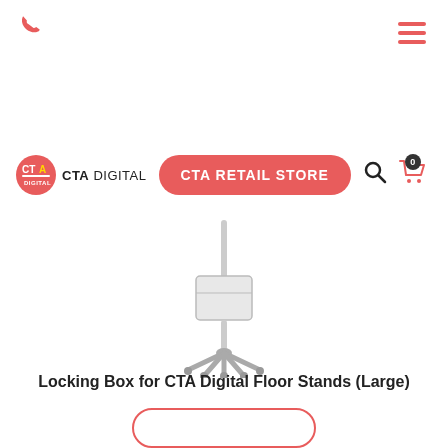[Figure (logo): CTA Digital logo with red circle containing CTA text and brand name CTA DIGITAL]
[Figure (illustration): Locking Box for CTA Digital Floor Stand product image - a wheeled medical/commercial floor stand with a white locking box attached to the pole]
Locking Box for CTA Digital Floor Stands (Large)